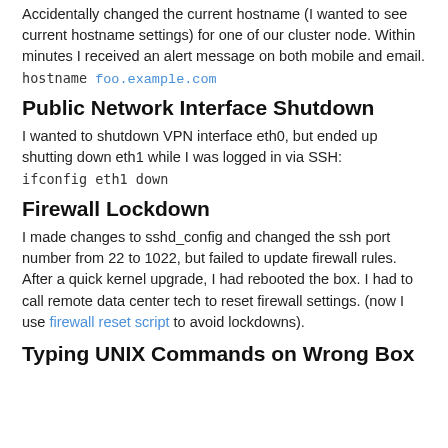Accidentally changed the current hostname (I wanted to see current hostname settings) for one of our cluster node. Within minutes I received an alert message on both mobile and email.
hostname foo.example.com
Public Network Interface Shutdown
I wanted to shutdown VPN interface eth0, but ended up shutting down eth1 while I was logged in via SSH:
ifconfig eth1 down
Firewall Lockdown
I made changes to sshd_config and changed the ssh port number from 22 to 1022, but failed to update firewall rules. After a quick kernel upgrade, I had rebooted the box. I had to call remote data center tech to reset firewall settings. (now I use firewall reset script to avoid lockdowns).
Typing UNIX Commands on Wrong Box